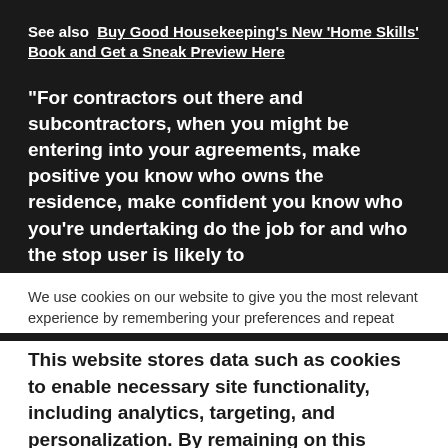See also  Buy Good Housekeeping’s New ‘Home Skills’ Book and Get a Sneak Preview Here
“For contractors out there and subcontractors, when you might be entering into your agreements, make positive you know who owns the residence, make confident you know who you’re undertaking do the job for and who the stop user is likely to
We use cookies on our website to give you the most relevant experience by remembering your preferences and repeat
visits. By clicking “Accept All”, you consent to the use of ALL t provide a controlled consent.
This website stores data such as cookies to enable necessary site functionality, including analytics, targeting, and personalization. By remaining on this website you indicate your consent Cookie Policy